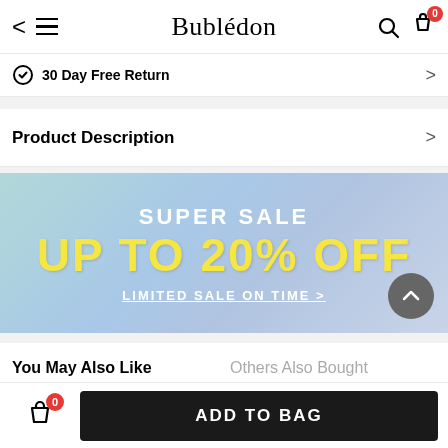Bubledon
30 Day Free Return
Product Description
[Figure (infographic): Sale banner with gradient blue background. Text: SUPER SALE, UP TO 20% OFF, LIMITED SALE ON TIME >. Scroll-up button bottom right.]
You May Also Like    Others Also Bought
ADD TO BAG